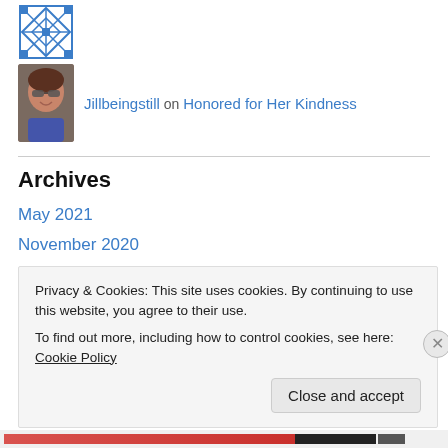[Figure (illustration): Blue quilt/snowflake pattern icon in top-left area]
Jillbeingstill on Honored for Her Kindness
Archives
May 2021
November 2020
October 2020
May 2020
April 2020
Privacy & Cookies: This site uses cookies. By continuing to use this website, you agree to their use.
To find out more, including how to control cookies, see here: Cookie Policy
Close and accept